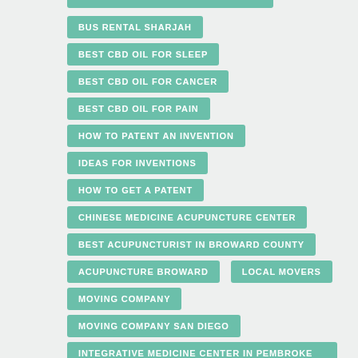BUS RENTAL SHARJAH
BEST CBD OIL FOR SLEEP
BEST CBD OIL FOR CANCER
BEST CBD OIL FOR PAIN
HOW TO PATENT AN INVENTION
IDEAS FOR INVENTIONS
HOW TO GET A PATENT
CHINESE MEDICINE ACUPUNCTURE CENTER
BEST ACUPUNCTURIST IN BROWARD COUNTY
ACUPUNCTURE BROWARD
LOCAL MOVERS
MOVING COMPANY
MOVING COMPANY SAN DIEGO
INTEGRATIVE MEDICINE CENTER IN PEMBROKE